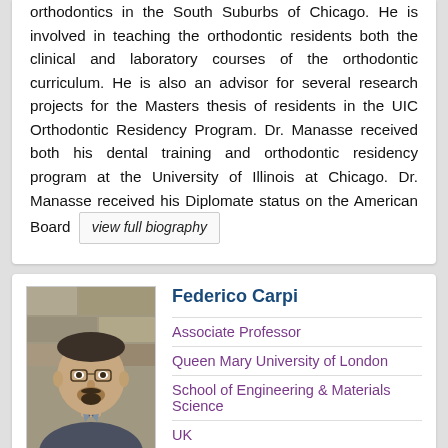orthodontics in the South Suburbs of Chicago. He is involved in teaching the orthodontic residents both the clinical and laboratory courses of the orthodontic curriculum. He is also an advisor for several research projects for the Masters thesis of residents in the UIC Orthodontic Residency Program. Dr. Manasse received both his dental training and orthodontic residency program at the University of Illinois at Chicago. Dr. Manasse received his Diplomate status on the American Board
view full biography
[Figure (photo): Headshot photo of Federico Carpi, a man with short hair and beard wearing a suit and tie, standing in front of a stone wall]
Federico Carpi
Associate Professor
Queen Mary University of London
School of Engineering & Materials Science
UK
Tel: +44 (0)20 7882 6087